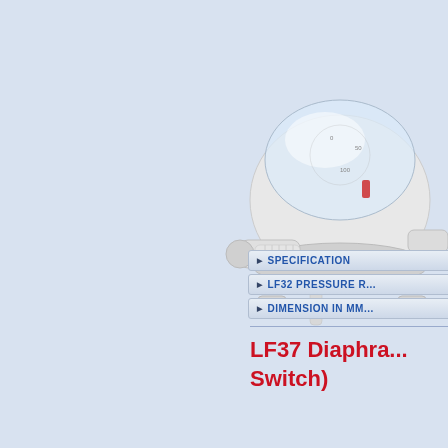[Figure (photo): A white diaphragm pressure switch device (LF37) with clear plastic top cover, multiple pipe/tubing ports, and mounting flanges, photographed against a light blue-grey background.]
SPECIFICATION
LF32 PRESSURE R...
DIMENSION IN MM...
LF37 Diaphragm... Switch)